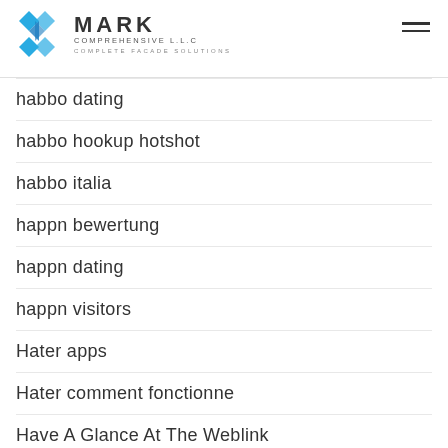[Figure (logo): Mark Comprehensive LLC logo with blue geometric/diamond icon and text MARK COMPREHENSIVE LLC COMPLETE FACADE SOLUTIONS]
habbo dating
habbo hookup hotshot
habbo italia
happn bewertung
happn dating
happn visitors
Hater apps
Hater comment fonctionne
Have A Glance At The Weblink
Have A Peek At Tids Web Site